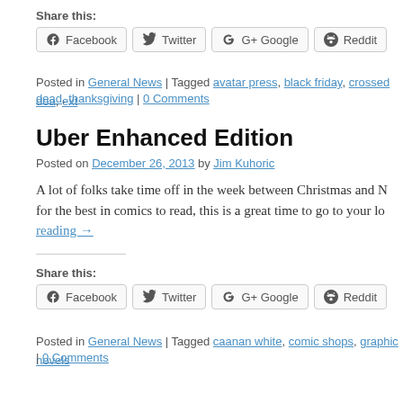Share this:
[Figure (other): Social share buttons: Facebook, Twitter, Google+, Reddit]
Posted in General News | Tagged avatar press, black friday, crossed doa, ext... dead, thanksgiving | 0 Comments
Uber Enhanced Edition
Posted on December 26, 2013 by Jim Kuhoric
A lot of folks take time off in the week between Christmas and N... for the best in comics to read, this is a great time to go to your lo... reading →
Share this:
[Figure (other): Social share buttons: Facebook, Twitter, Google+, Reddit]
Posted in General News | Tagged caanan white, comic shops, graphic novels | 0 Comments